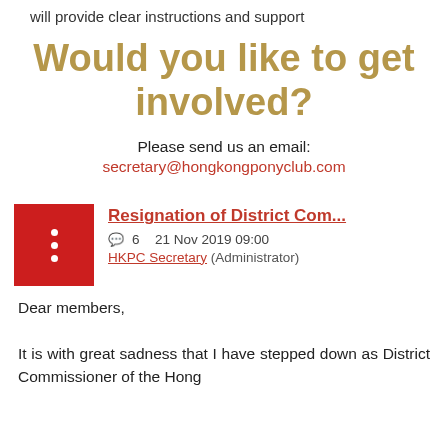will provide clear instructions and support
Would you like to get involved?
Please send us an email: secretary@hongkongponyclub.com
Resignation of District Com...
💬 6   21 Nov 2019 09:00   HKPC Secretary (Administrator)
Dear members,
It is with great sadness that I have stepped down as District Commissioner of the Hong